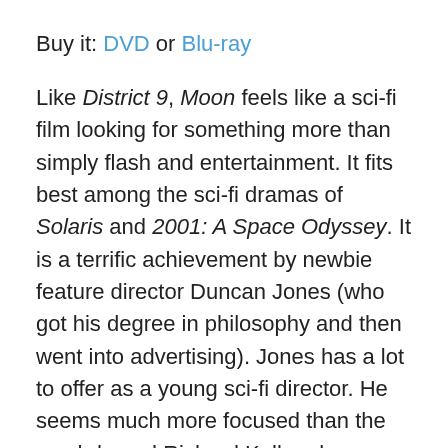Buy it: DVD or Blu-ray
Like District 9, Moon feels like a sci-fi film looking for something more than simply flash and entertainment. It fits best among the sci-fi dramas of Solaris and 2001: A Space Odyssey. It is a terrific achievement by newbie feature director Duncan Jones (who got his degree in philosophy and then went into advertising). Jones has a lot to offer as a young sci-fi director. He seems much more focused than the much-hyped Richard Kelly, who serrendiptously stumbles through his convoluted plots. High hopes abound for this young, new talent who is already at work on his next sci-fi film entitled Escape From the Deep.
12. Ponyo